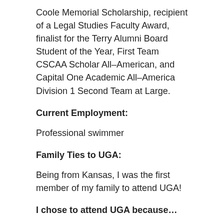Coole Memorial Scholarship, recipient of a Legal Studies Faculty Award, finalist for the Terry Alumni Board Student of the Year, First Team CSCAA Scholar All–American, and Capital One Academic All–America Division 1 Second Team at Large.
Current Employment:
Professional swimmer
Family Ties to UGA:
Being from Kansas, I was the first member of my family to attend UGA!
I chose to attend UGA because…
I took a few trips to other schools and after only a few hours at UGA I knew it was where I wanted to go. The Honors program at UGA is fantastic as is the sense of community. I attended a football game in the rain and the